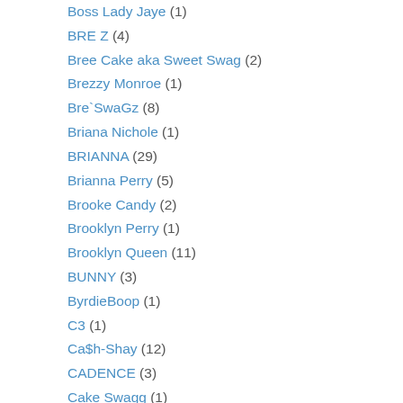Boss Lady Jaye (1)
BRE Z (4)
Bree Cake aka Sweet Swag (2)
Brezzy Monroe (1)
Bre`SwaGz (8)
Briana Nichole (1)
BRIANNA (29)
Brianna Perry (5)
Brooke Candy (2)
Brooklyn Perry (1)
Brooklyn Queen (11)
BUNNY (3)
ByrdieBoop (1)
C3 (1)
Ca$h-Shay (12)
CADENCE (3)
Cake Swagg (1)
Cakes (1)
Cakesssssss (2)
Cali Hendrix (1)